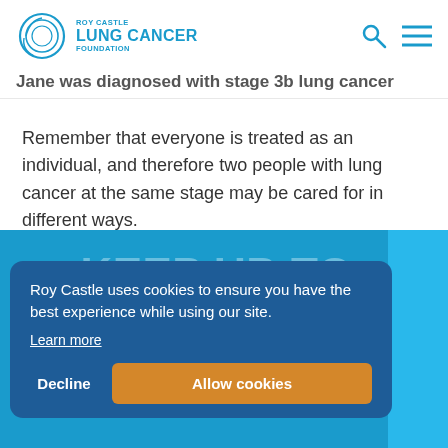Roy Castle Lung Cancer Foundation
Jane was diagnosed with stage 3b lung cancer
Remember that everyone is treated as an individual, and therefore two people with lung cancer at the same stage may be cared for in different ways.
[Figure (screenshot): Cookie consent banner with dark blue background. Text: 'Roy Castle uses cookies to ensure you have the best experience while using our site.' with a 'Learn more' link. Two buttons: 'Decline' and 'Allow cookies' (orange). Behind the banner is the blue footer section with faint text 'KEEP UP-TO-DATE' and 'Sign up to receive all the latest information, news and advice.' and 'as well as ways you can support us.']